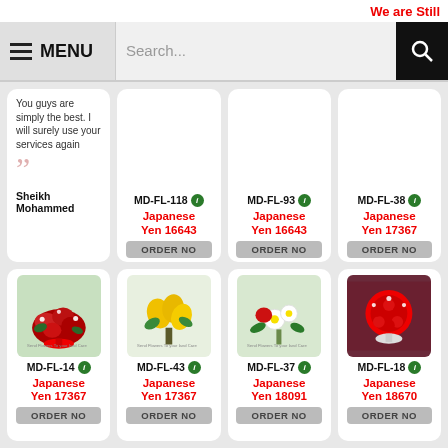We are Still
MENU
Search...
You guys are simply the best. I will surely use your services again
Sheikh Mohammed
MD-FL-118
Japanese Yen 16643
ORDER NO
MD-FL-93
Japanese Yen 16643
ORDER NO
MD-FL-38
Japanese Yen 17367
ORDER NO
[Figure (photo): Red roses bouquet with baby's breath and red ribbon wrap]
MD-FL-14
Japanese Yen 17367
ORDER NO
[Figure (photo): Yellow flowers bouquet]
MD-FL-43
Japanese Yen 17367
ORDER NO
[Figure (photo): Mixed flower bouquet with red and white flowers]
MD-FL-37
Japanese Yen 18091
ORDER NO
[Figure (photo): Round red rose arrangement with white ribbon]
MD-FL-18
Japanese Yen 18670
ORDER NO